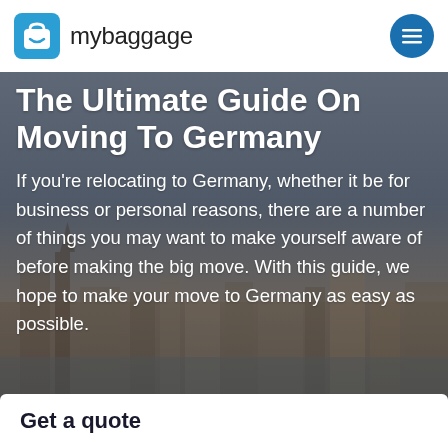mybaggage
The Ultimate Guide On Moving To Germany
If you’re relocating to Germany, whether it be for business or personal reasons, there are a number of things you may want to make yourself aware of before making the big move. With this guide, we hope to make your move to Germany as easy as possible.
Get a quote